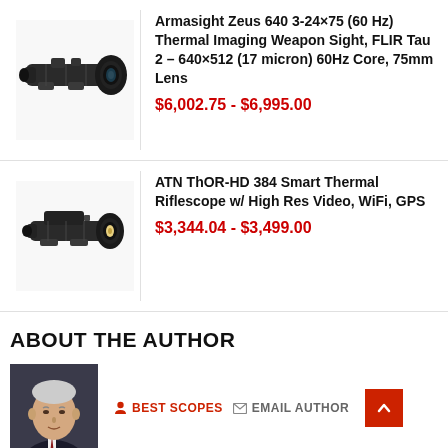[Figure (photo): Armasight Zeus 640 thermal imaging weapon sight – black rifle scope with large objective lens]
Armasight Zeus 640 3-24×75 (60 Hz) Thermal Imaging Weapon Sight, FLIR Tau 2 – 640×512 (17 micron) 60Hz Core, 75mm Lens
$6,002.75 - $6,995.00
[Figure (photo): ATN ThOR-HD 384 Smart Thermal Riflescope – black rifle scope with large objective lens]
ATN ThOR-HD 384 Smart Thermal Riflescope w/ High Res Video, WiFi, GPS
$3,344.04 - $3,499.00
ABOUT THE AUTHOR
[Figure (photo): Headshot photo of older white-haired man in suit and tie]
BEST SCOPES   EMAIL AUTHOR